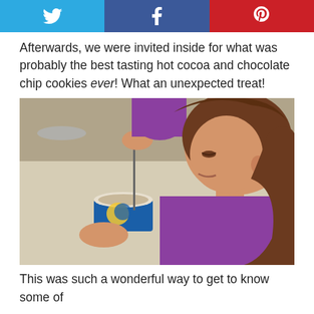Social share buttons: Twitter, Facebook, Pinterest
Afterwards, we were invited inside for what was probably the best tasting hot cocoa and chocolate chip cookies ever! What an unexpected treat!
[Figure (photo): A young girl with brown hair in a ponytail, wearing a purple shirt, stirring a blue cup (with a moon design) with a thin stirrer. She is leaning over the cup on a table with a beige tablecloth.]
This was such a wonderful way to get to know some of